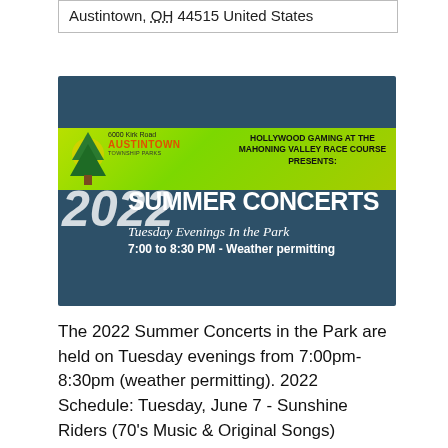Austintown, OH 44515 United States
[Figure (illustration): 2022 Summer Concerts in the Park promotional poster for Austintown Township Parks, presented by Hollywood Gaming at the Mahoning Valley Race Course. Dark teal background with green banner. Text reads: 6000 Kirk Road, AUSTINTOWN TOWNSHIP PARKS, HOLLYWOOD GAMING AT THE MAHONING VALLEY RACE COURSE PRESENTS: 2022 SUMMER CONCERTS Tuesday Evenings In the Park 7:00 to 8:30 PM - Weather permitting.]
The 2022 Summer Concerts in the Park are held on Tuesday evenings from 7:00pm-8:30pm (weather permitting). 2022 Schedule: Tuesday, June 7 - Sunshine Riders (70's Music & Original Songs) Tuesday, June 14 - Train Wreck